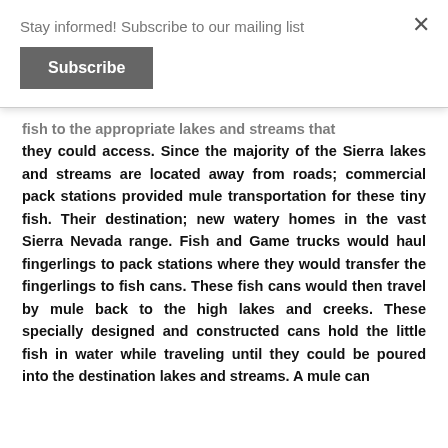Stay informed! Subscribe to our mailing list
Subscribe
fish to the appropriate lakes and streams that they could access. Since the majority of the Sierra lakes and streams are located away from roads; commercial pack stations provided mule transportation for these tiny fish. Their destination; new watery homes in the vast Sierra Nevada range. Fish and Game trucks would haul fingerlings to pack stations where they would transfer the fingerlings to fish cans. These fish cans would then travel by mule back to the high lakes and creeks. These specially designed and constructed cans hold the little fish in water while traveling until they could be poured into the destination lakes and streams. A mule can